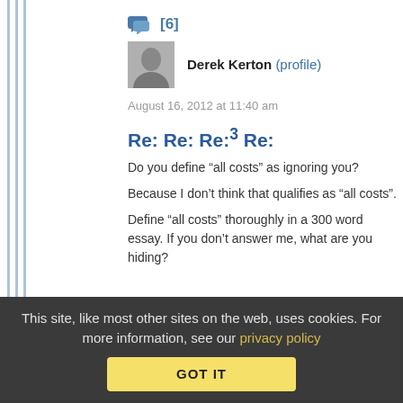[6]
Derek Kerton (profile)
August 16, 2012 at 11:40 am
Re: Re: Re:3 Re:
Do you define “all costs” as ignoring you?
Because I don’t think that qualifies as “all costs”.
Define “all costs” thoroughly in a 300 word essay. If you don't answer me, what are you hiding?
This site, like most other sites on the web, uses cookies. For more information, see our privacy policy
GOT IT